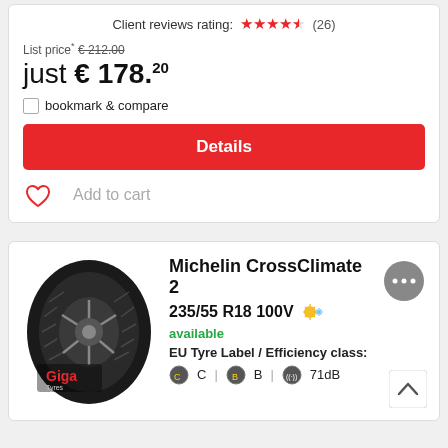Client reviews rating: ★★★★½ (26)
List price* €212.00
just € 178.20
bookmark & compare
Details
Add to cart
[Figure (illustration): Michelin CrossClimate 2 tyre product image with Giga Tyres branding overlay]
Michelin CrossClimate 2
235/55 R18 100V ☀❄
available
EU Tyre Label / Efficiency class:
C | B | 71dB